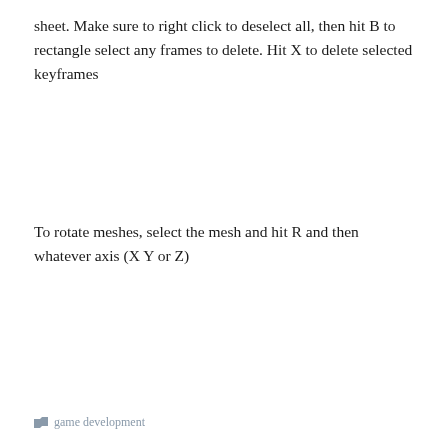sheet. Make sure to right click to deselect all, then hit B to rectangle select any frames to delete. Hit X to delete selected keyframes
To rotate meshes, select the mesh and hit R and then whatever axis (X Y or Z)
game development